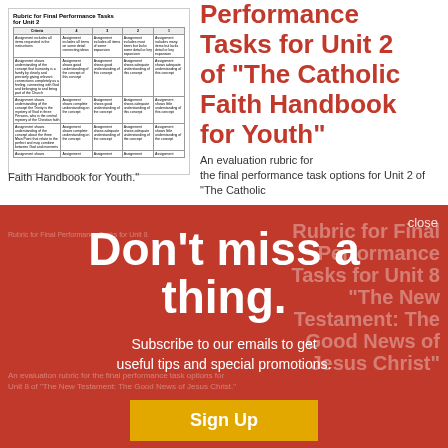[Figure (other): Thumbnail image of a rubric table for Final Performance Tasks for Unit 2]
Performance Tasks for Unit 2 of “The Catholic Faith Handbook for Youth”
An evaluation rubric for the final performance task options for Unit 2 of “The Catholic Faith Handbook for Youth.”
close
Don't miss a thing.
Subscribe to our emails to get useful tips and special promotions.
Sign Up
Rubric for Final Performance Tasks for Unit 8 of “The New Testament: The Good News of Jesus Christ”
An evaluation rubric for the final performance task options for Unit 8 of “The New Testament: The Good News of Jesus Christ.”